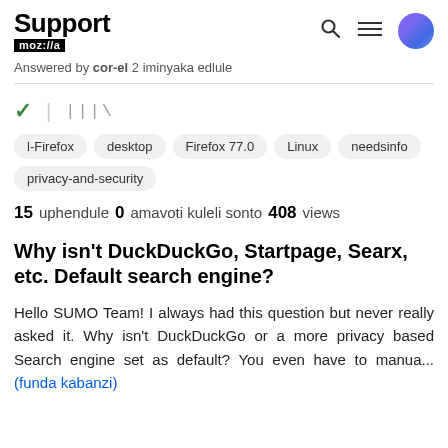Support mozilla // (navigation header)
Answered by cor-el 2 iminyaka edlule
✓ | |||\
I-Firefox  desktop  Firefox 77.0  Linux  needsinfo  privacy-and-security
15 uphendule  0 amavoti kuleli sonto  408 views
Why isn't DuckDuckGo, Startpage, Searx, etc. Default search engine?
Hello SUMO Team! I always had this question but never really asked it. Why isn't DuckDuckGo or a more privacy based Search engine set as default? You even have to manua... (funda kabanzi)